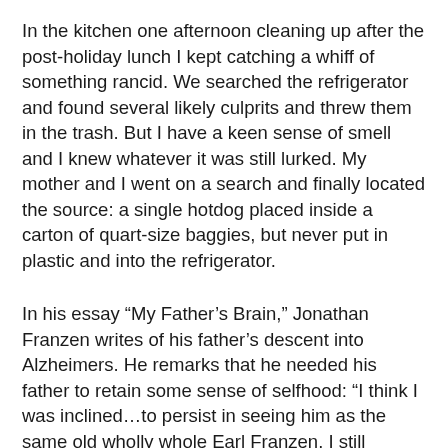In the kitchen one afternoon cleaning up after the post-holiday lunch I kept catching a whiff of something rancid. We searched the refrigerator and found several likely culprits and threw them in the trash. But I have a keen sense of smell and I knew whatever it was still lurked. My mother and I went on a search and finally located the source: a single hotdog placed inside a carton of quart-size baggies, but never put in plastic and into the refrigerator.
In his essay “My Father’s Brain,” Jonathan Franzen writes of his father’s descent into Alzheimers. He remarks that he needed his father to retain some sense of selfhood: “I think I was inclined…to persist in seeing him as the same old wholly whole Earl Franzen. I still needed him to be an actor in the story of myself.”
When I was a child, we went to Paterson, NJ, one winter, to see where my grandfather had grown up. I remember a brick factory, the enormous spools of thread, and the crashing